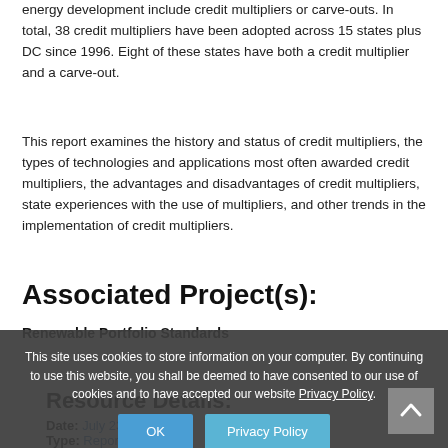energy development include credit multipliers or carve-outs. In total, 38 credit multipliers have been adopted across 15 states plus DC since 1996. Eight of these states have both a credit multiplier and a carve-out.
This report examines the history and status of credit multipliers, the types of technologies and applications most often awarded credit multipliers, the advantages and disadvantages of credit multipliers, state experiences with the use of multipliers, and other trends in the implementation of credit multipliers.
Associated Project(s):
Renewable Portfolio Standards
This site uses cookies to store information on your computer. By continuing to use this website, you shall be deemed to have consented to our use of cookies and to have accepted our website Privacy Policy.
Resource Details:
Date: July 23, 2018
Type: Report